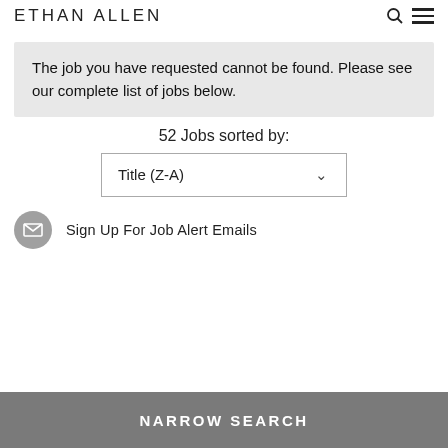ETHAN ALLEN
The job you have requested cannot be found. Please see our complete list of jobs below.
52 Jobs sorted by:
Title (Z-A)
Sign Up For Job Alert Emails
NARROW SEARCH